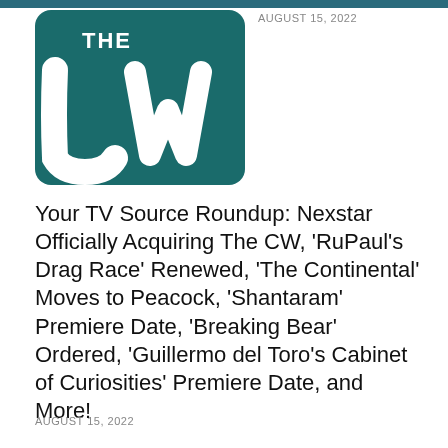AUGUST 15, 2022
[Figure (logo): The CW network logo — teal/dark green background with white 'THE' text above large stylized 'CW' letters]
Your TV Source Roundup: Nexstar Officially Acquiring The CW, 'RuPaul's Drag Race' Renewed, 'The Continental' Moves to Peacock, 'Shantaram' Premiere Date, 'Breaking Bear' Ordered, 'Guillermo del Toro's Cabinet of Curiosities' Premiere Date, and More!
AUGUST 15, 2022